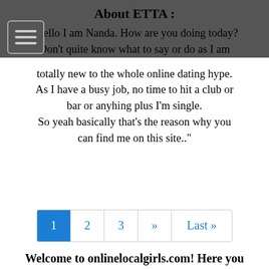About ETTA :
"Hello I am Nanda. How are you doing today? Don't quite know what to say or do as I am totally new to the whole online dating hype. As I have a busy job, no time to hit a club or bar or anyhing plus I'm single. So yeah basically that's the reason why you can find me on this site.."
1 2 3 » Last »
Welcome to onlinelocalgirls.com! Here you can find horny local girls looking to get